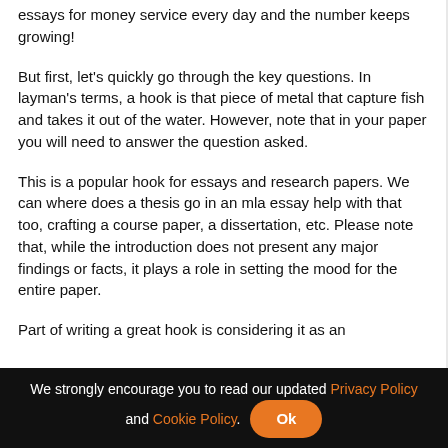essays for money service every day and the number keeps growing!
But first, let's quickly go through the key questions. In layman's terms, a hook is that piece of metal that capture fish and takes it out of the water. However, note that in your paper you will need to answer the question asked.
This is a popular hook for essays and research papers. We can where does a thesis go in an mla essay help with that too, crafting a course paper, a dissertation, etc. Please note that, while the introduction does not present any major findings or facts, it plays a role in setting the mood for the entire paper.
Part of writing a great hook is considering it as an
We strongly encourage you to read our updated Privacy Policy and Cookie Policy. Ok